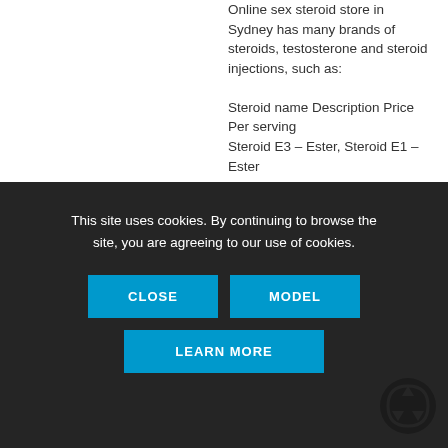Online sex steroid store in Sydney has many brands of steroids, testosterone and steroid injections, such as: Steroid name Description Price Per serving Steroid E3 – Ester, Steroid E1 – Ester
This site uses cookies. By continuing to browse the site, you are agreeing to our use of cookies.
CLOSE
MODEL
LEARN MORE